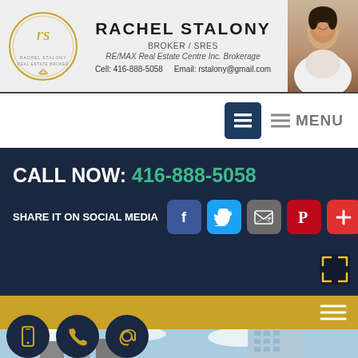RACHEL STALONY — BROKER / SRES — RE/MAX Real Estate Centre Inc. Brokerage — Cell: 416-888-5058 — Email: rstalony@gmail.com
MENU
CALL NOW: 416-888-5058
SHARE IT ON SOCIAL MEDIA
[Figure (screenshot): Real estate building exterior photo with blue sky and modern glass high-rise tower]
[Figure (illustration): Three circular contact icon buttons: phone/mobile, phone call, and email/at-symbol in navy blue with gold icons]